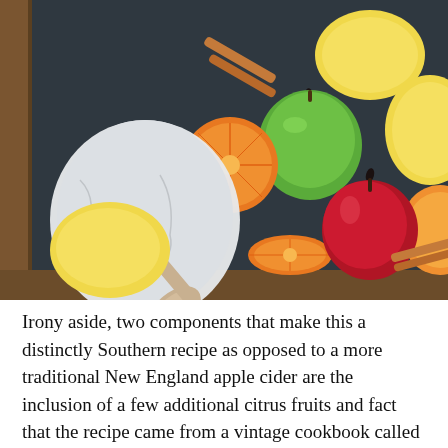[Figure (photo): Overhead flat-lay photo of fruits and spices on a dark slate background with a wooden spoon and white cloth. Fruits include lemons, oranges (halved), a green apple, a red apple, and a partial orange. Cinnamon sticks and whole cloves are scattered around. A wooden cutting board edge is visible at the bottom.]
Irony aside, two components that make this a distinctly Southern recipe as opposed to a more traditional New England apple cider are the inclusion of a few additional citrus fruits and fact that the recipe came from a vintage cookbook called Wild About Texas.